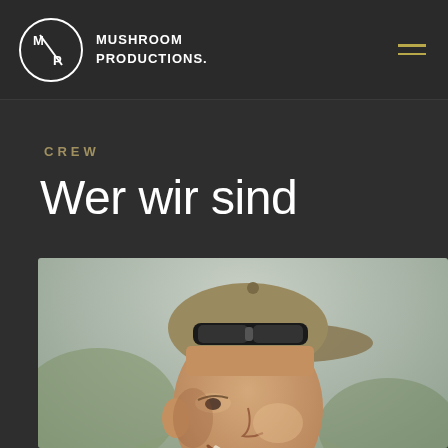Mushroom Productions.
CREW
Wer wir sind
[Figure (photo): Portrait photo of a young smiling man wearing a backwards snapback cap with goggles resting on it, outdoors with blurred green and grey background, appears to be at a sporting or outdoor event]